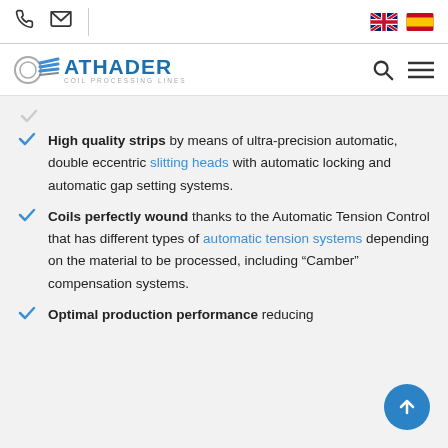Navigation bar with phone icon, email icon, UK flag, Spain flag
[Figure (logo): Athader Coil Processing Lines logo with search and menu icons]
High quality strips by means of ultra-precision automatic, double eccentric slitting heads with automatic locking and automatic gap setting systems.
Coils perfectly wound thanks to the Automatic Tension Control that has different types of automatic tension systems depending on the material to be processed, including "Camber" compensation systems.
Optimal production performance reducing